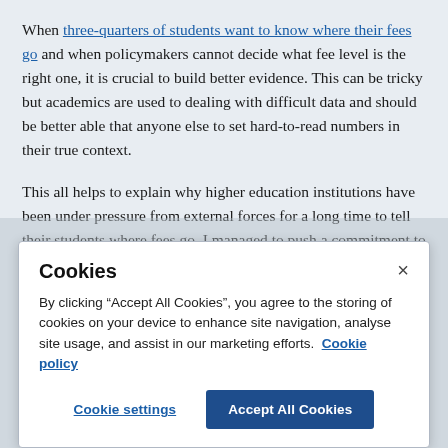When three-quarters of students want to know where their fees go and when policymakers cannot decide what fee level is the right one, it is crucial to build better evidence. This can be tricky but academics are used to dealing with difficult data and should be better able that anyone else to set hard-to-read numbers in their true context.
This all helps to explain why higher education institutions have been under pressure from external forces for a long time to tell their students where fees go. I managed to push a commitment to greater transparency into a government white
[Figure (screenshot): Cookie consent banner overlaying the article content. Contains title 'Cookies', close button (×), body text about accepting cookies, a 'Cookie policy' link, and two buttons: 'Cookie settings' and 'Accept All Cookies'.]